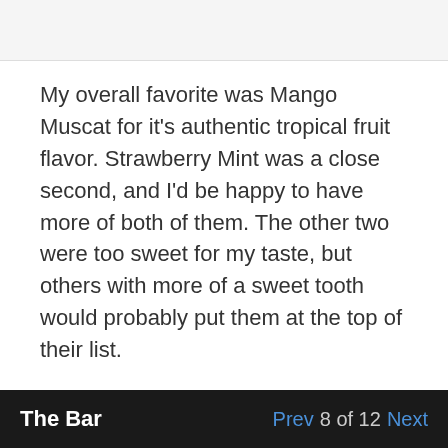My overall favorite was Mango Muscat for it's authentic tropical fruit flavor. Strawberry Mint was a close second, and I'd be happy to have more of both of them. The other two were too sweet for my taste, but others with more of a sweet tooth would probably put them at the top of their list.
Photo Gallery
The Bar   Prev  8 of 12  Next